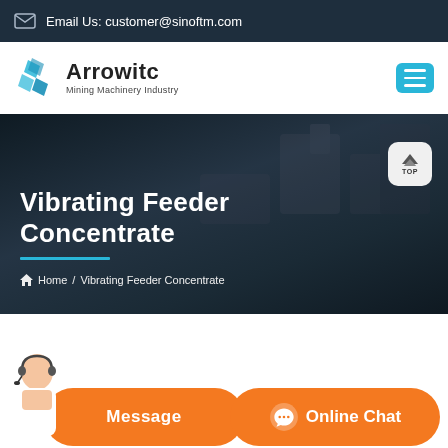Email Us: customer@sinoftm.com
[Figure (logo): Arrowitc Mining Machinery Industry logo with blue geometric diamond icon]
Vibrating Feeder Concentrate
Home / Vibrating Feeder Concentrate
[Figure (screenshot): Bottom chat bar with Message and Online Chat buttons, customer service representative photo on left]